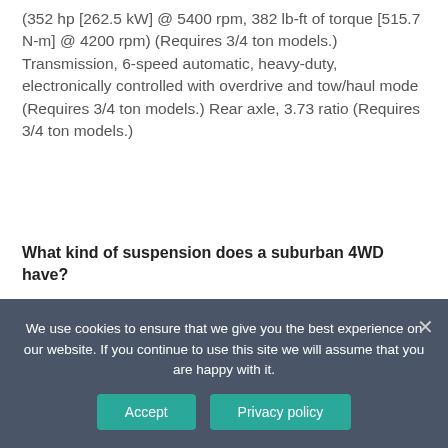(352 hp [262.5 kW] @ 5400 rpm, 382 lb-ft of torque [515.7 N-m] @ 4200 rpm) (Requires 3/4 ton models.) Transmission, 6-speed automatic, heavy-duty, electronically controlled with overdrive and tow/haul mode (Requires 3/4 ton models.) Rear axle, 3.73 ratio (Requires 3/4 ton models.)
What kind of suspension does a suburban 4WD have?
Rear axle, 3.73 ratio (Requires 3/4 ton models.) Suspension Package, Handling/Trailering...
We use cookies to ensure that we give you the best experience on our website. If you continue to use this site we will assume that you are happy with it.